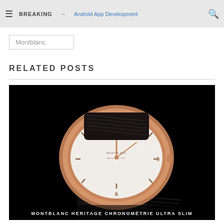≡ BREAKING → Android App Development 🔍
Montblanc
RELATED POSTS
[Figure (photo): Close-up product photo of a Montblanc Heritage Chronométrie Ultra Slim watch with a rose gold case, white dial, and black leather strap, shot against a black background.]
MONTBLANC HERITAGE CHRONOMÉTRIE ULTRA SLIM